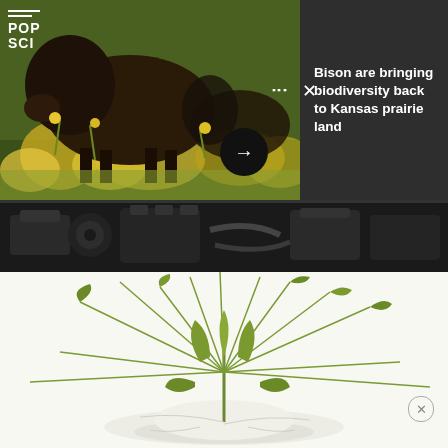[Figure (photo): Bison standing among yellow wildflowers on a Kansas prairie, with a dark editorial panel to the right showing headline text]
Bison are bringing biodiversity back to Kansas prairie land
[Figure (photo): Close-up of a car engine bay showing dark mechanical components]
[Figure (photo): Green plant or leaf exploding/splashing in water, high-speed photography style, against white background]